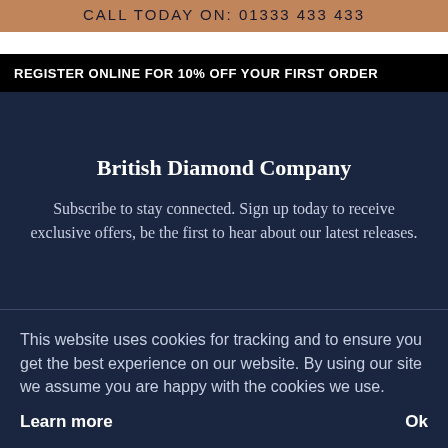CALL TODAY ON: 01333 433 433
REGISTER ONLINE FOR 10% OFF YOUR FIRST ORDER
British Diamond Company
Subscribe to stay connected. Sign up today to receive exclusive offers, be the first to hear about our latest releases.
This website uses cookies for tracking and to ensure you get the best experience on our website. By using our site we assume you are happy with the cookies we use.
Learn more
Ok